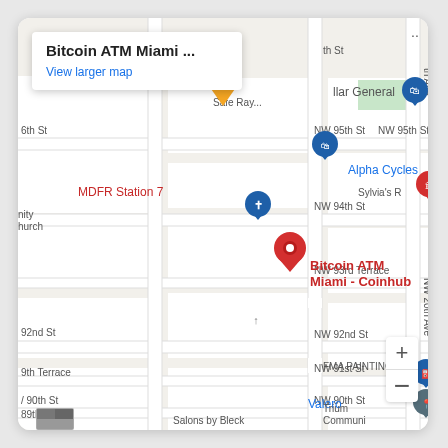[Figure (map): Google Maps screenshot showing Bitcoin ATM Miami - Coinhub location near NW 92nd St in Miami. The map shows surrounding streets including NW 95th St, NW 94th St, NW 93rd Terrace, NW 92nd St, NW 91st St, NW 90th St, and NW 89th St. Other landmarks include Dollar General, Alpha Cycles, MDFR Station 7, a church, Valero, FMA Painting, Triumph Community, and Salons by Bleck. An info box shows 'Bitcoin ATM Miami ...' with a 'View larger map' link.]